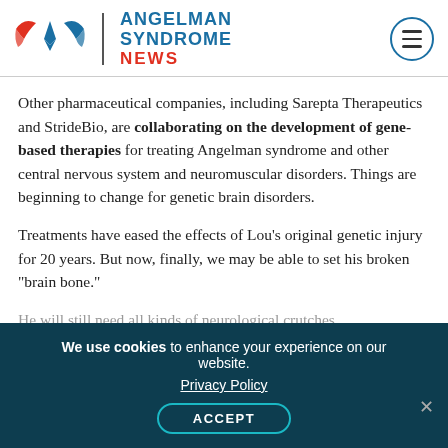Angelman Syndrome News
Other pharmaceutical companies, including Sarepta Therapeutics and StrideBio, are collaborating on the development of gene-based therapies for treating Angelman syndrome and other central nervous system and neuromuscular disorders. Things are beginning to change for genetic brain disorders.
Treatments have eased the effects of Lou’s original genetic injury for 20 years. But now, finally, we may be able to set his broken “brain bone.”
He will still need all kinds of neurological crutches
We use cookies to enhance your experience on our website. Privacy Policy ACCEPT